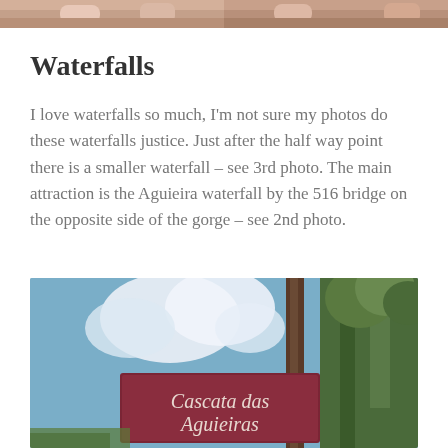[Figure (photo): Two cropped photos side by side showing people, partially visible at top of page]
Waterfalls
I love waterfalls so much, I'm not sure my photos do these waterfalls justice. Just after the half way point there is a smaller waterfall – see 3rd photo. The main attraction is the Aguieira waterfall by the 516 bridge on the opposite side of the gorge – see 2nd photo.
[Figure (photo): Photo of a wooden sign reading 'Cascata das Aguieiras' with blue sky and trees in background]